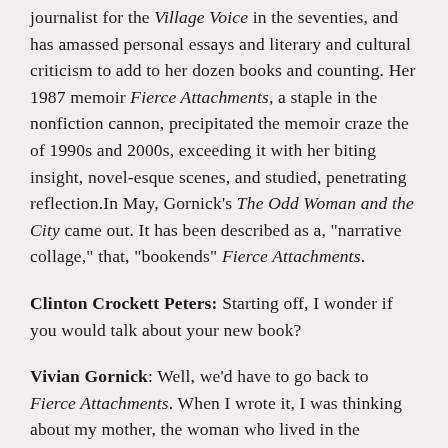journalist for the Village Voice in the seventies, and has amassed personal essays and literary and cultural criticism to add to her dozen books and counting. Her 1987 memoir Fierce Attachments, a staple in the nonfiction cannon, precipitated the memoir craze the of 1990s and 2000s, exceeding it with her biting insight, novel-esque scenes, and studied, penetrating reflection.In May, Gornick's The Odd Woman and the City came out. It has been described as a, "narrative collage," that, "bookends" Fierce Attachments.
Clinton Crockett Peters: Starting off, I wonder if you would talk about your new book?
Vivian Gornick: Well, we'd have to go back to Fierce Attachments. When I wrote it, I was thinking about my mother, the woman who lived in the tenement across from us, and how these two women together made me a woman. I wrote forty pages and got stuck. I realized I had a lot of unfinished business with my mother. So I sat there for six months not knowing